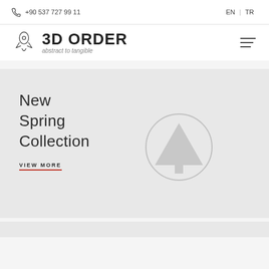+90 537 727 99 11  EN  TR
3D ORDER abstract to tangible
[Figure (illustration): 3D printer / rocket logo icon for 3D ORDER brand]
[Figure (illustration): Hamburger menu icon (three horizontal lines)]
New Spring Collection
VIEW MORE
[Figure (illustration): Circle with upward-pointing tree/arrow icon in light gray, decorative hero element]